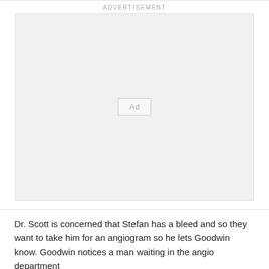ADVERTISEMENT
[Figure (other): Advertisement placeholder box with centered 'Ad' label inside a rounded rectangle]
Dr. Scott is concerned that Stefan has a bleed and so they want to take him for an angiogram so he lets Goodwin know. Goodwin notices a man waiting in the angio department